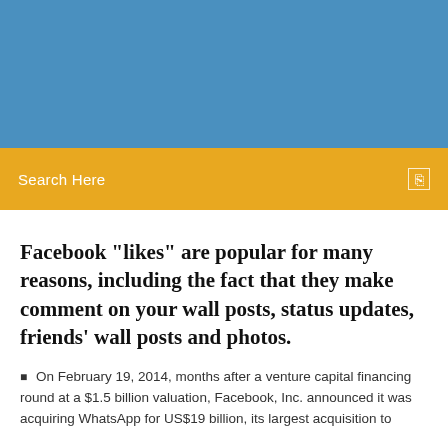[Figure (other): Blue header banner background]
Search Here
Facebook "likes" are popular for many reasons, including the fact that they make comment on your wall posts, status updates, friends' wall posts and photos.
On February 19, 2014, months after a venture capital financing round at a $1.5 billion valuation, Facebook, Inc. announced it was acquiring WhatsApp for US$19 billion, its largest acquisition to